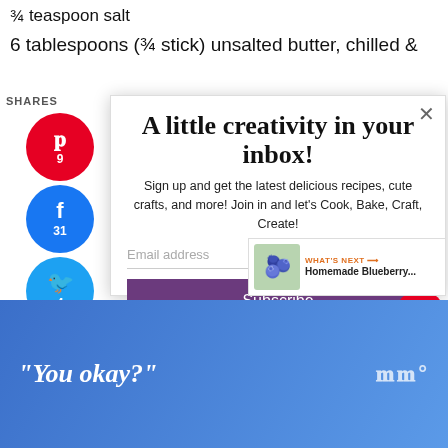¾ teaspoon salt
6 tablespoons (¾ stick) unsalted butter, chilled &
SHARES
Pinterest 9
Facebook 31
Twitter 4
Yummly
LinkedIn
Mix
WhatsApp
A little creativity in your inbox!
Sign up and get the latest delicious recipes, cute crafts, and more! Join in and let's Cook, Bake, Craft, Create!
Email address
Subscribe
245
WHAT'S NEXT → Homemade Blueberry...
"You okay?"